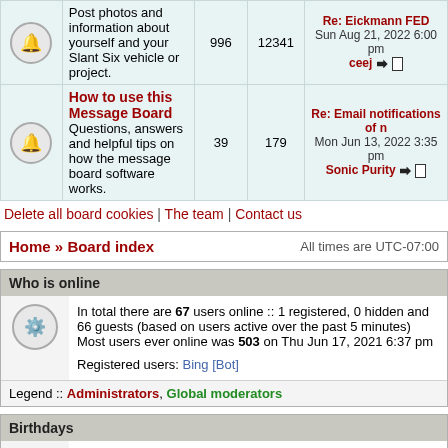|  | Description | Posts | Topics | Last post |
| --- | --- | --- | --- | --- |
| [icon] | Post photos and information about yourself and your Slant Six vehicle or project. | 996 | 12341 | Re: Eickmann FED
Sun Aug 21, 2022 6:00 pm
ceej →□ |
| [icon] | How to use this Message Board
Questions, answers and helpful tips on how the message board software works. | 39 | 179 | Re: Email notifications of n...
Mon Jun 13, 2022 3:35 pm
Sonic Purity →□ |
Delete all board cookies | The team | Contact us
Home » Board index    All times are UTC-07:00
Who is online
In total there are 67 users online :: 1 registered, 0 hidden and 66 guests (based on users active over the past 5 minutes)
Most users ever online was 503 on Thu Jun 17, 2021 6:37 pm

Registered users: Bing [Bot]
Legend :: Administrators, Global moderators
Birthdays
No birthdays today.